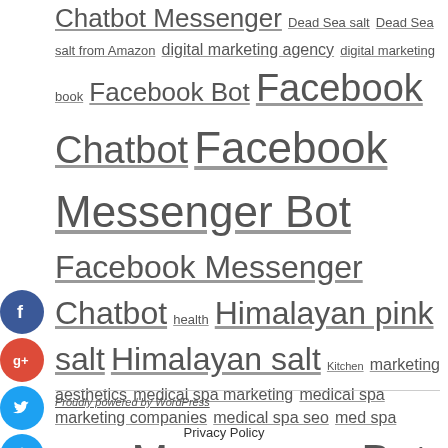Chatbot Messenger Dead Sea salt Dead Sea salt from Amazon digital marketing agency digital marketing book Facebook Bot Facebook Chatbot Facebook Messenger Bot Facebook Messenger Chatbot health Himalayan pink salt Himalayan salt Kitchen marketing aesthetics medical spa marketing medical spa marketing companies medical spa seo med spa marketing Messenger Bot Pink Himalayan salt Pink salt pool enclosures pure Dead Sea salt Repair seo book seo books service services truffle salt truffle sea salt web design
[Figure (infographic): Social media icon buttons: Facebook (blue), Google+ (red), Twitter (blue), Add/Plus (blue)]
Proudly powered by WordPress
Privacy Policy